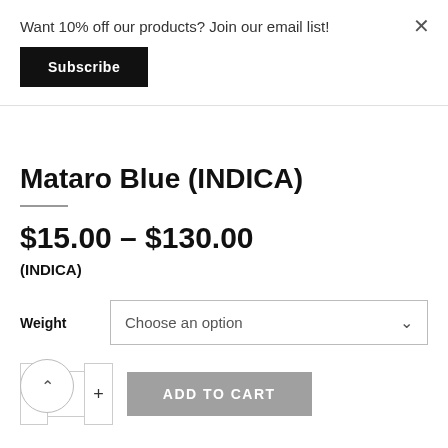Want 10% off our products? Join our email list!
Subscribe
×
Mataro Blue (INDICA)
$15.00 – $130.00
(INDICA)
Weight
Choose an option
ADD TO CART